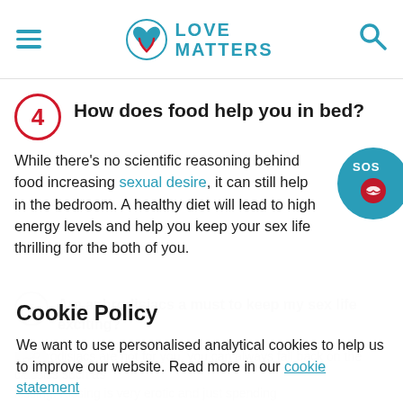Love Matters — navigation header with hamburger menu, logo, and search icon
4 How does food help you in bed?
While there's no scientific reasoning behind food increasing sexual desire, it can still help in the bedroom. A healthy diet will lead to high energy levels and help you keep your sex life thrilling for the both of you.
[Figure (illustration): SOS bubble/badge graphic with teal background, map pin with red lips icon]
5 Are aphrodisiacs a must to keep my sex life exciting? (faded background text)
If aphrodisiacs are not for you, you can always fall back on the classics such as kissing. Kissing is very erotic and just spending (faded)
aphrodisiac. Similarly, you can spice up your surroundings by... (faded)
Cookie Policy
We want to use personalised analytical cookies to help us to improve our website. Read more in our cookie statement
YES